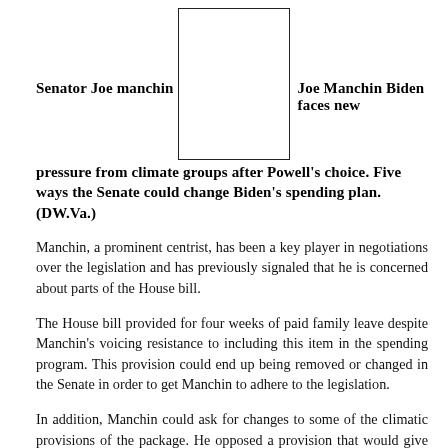Senator Joe manchin Joe Manchin Biden faces new pressure from climate groups after Powell's choice. Five ways the Senate could change Biden's spending plan. (DW.Va.)
[Figure (photo): A rectangular placeholder/image box, outlined with a border, positioned in the upper center of the page between the title text.]
Manchin, a prominent centrist, has been a key player in negotiations over the legislation and has previously signaled that he is concerned about parts of the House bill.
The House bill provided for four weeks of paid family leave despite Manchin's voicing resistance to including this item in the spending program. This provision could end up being removed or changed in the Senate in order to get Manchin to adhere to the legislation.
In addition, Manchin could ask for changes to some of the climatic provisions of the package. He opposed a provision that would give additional tax breaks for electric vehicles made by unionized American